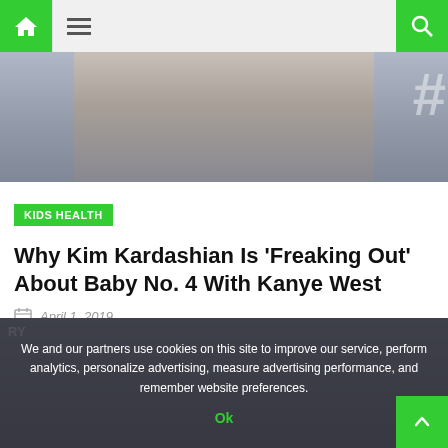Navigation bar with home, menu, and search icons
[Figure (photo): Cropped photo of Kim Kardashian with dark hair, gray/blue background with hashtag symbol visible on right]
KIDS HEALTH
Why Kim Kardashian Is 'Freaking Out' About Baby No. 4 With Kanye West
April 1, 2019
Emotions are high! Kim Kardashian shared how she feels about having a fourth baby on the Sunday, March 31, episode of Keeping Up With the Kardashians.
[Figure (photo): Second photo partially visible, overlaid with cookie consent notice. Cookie text: We and our partners use cookies on this site to improve our service, perform analytics, personalize advertising, measure advertising performance, and remember website preferences. Ok button shown.]